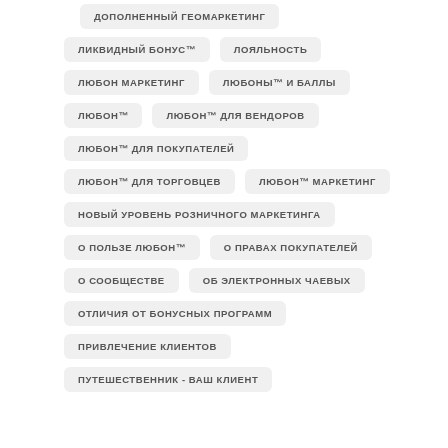ДОПОЛНЕННЫЙ ГЕОМАРКЕТИНГ
ЛИКВИДНЫЙ БОНУС™
ЛОЯЛЬНОСТЬ
ЛЮБОН МАРКЕТИНГ
ЛЮБОНЫ™ И БАЛЛЫ
ЛЮБОН™
ЛЮБОН™ ДЛЯ ВЕНДОРОВ
ЛЮБОН™ ДЛЯ ПОКУПАТЕЛЕЙ
ЛЮБОН™ ДЛЯ ТОРГОВЦЕВ
ЛЮБОН™ МАРКЕТИНГ
НОВЫЙ УРОВЕНЬ РОЗНИЧНОГО МАРКЕТИНГА
О ПОЛЬЗЕ ЛЮБОН™
О ПРАВАХ ПОКУПАТЕЛЕЙ
О СООБЩЕСТВЕ
ОБ ЭЛЕКТРОННЫХ ЧАЕВЫХ
ОТЛИЧИЯ ОТ БОНУСНЫХ ПРОГРАММ
ПРИВЛЕЧЕНИЕ КЛИЕНТОВ
ПУТЕШЕСТВЕННИК - ВАШ КЛИЕНТ